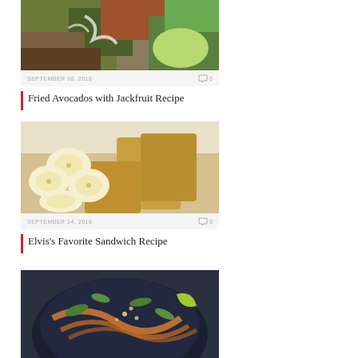[Figure (photo): Food photo showing fried avocados with jackfruit recipe, partially cropped at top]
SEPTEMBER 30, 2018   0
Fried Avocados with Jackfruit Recipe
[Figure (photo): Food photo showing sliced bananas and fried jackfruit pieces on a white surface]
SEPTEMBER 14, 2018   0
Elvis's Favorite Sandwich Recipe
[Figure (photo): Food photo showing a bowl of noodles with herbs and garnishes, partially cropped at bottom]